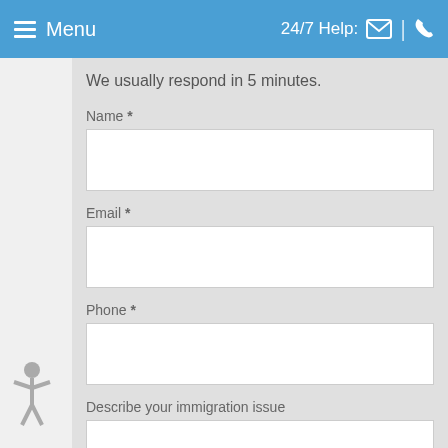Menu  24/7 Help:
We usually respond in 5 minutes.
Name *
Email *
Phone *
Describe your immigration issue